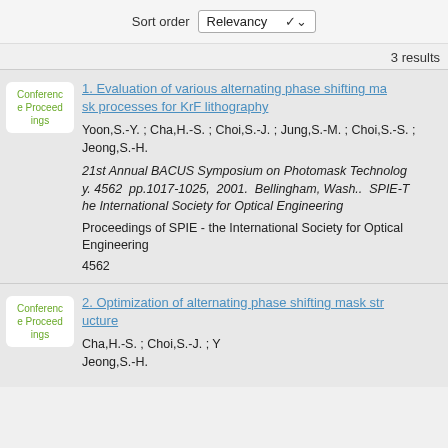Sort order  Relevancy
3 results
1. Evaluation of various alternating phase shifting mask processes for KrF lithography
Conference Proceedings
Yoon,S.-Y. ; Cha,H.-S. ; Choi,S.-J. ; Jung,S.-M. ; Choi,S.-S. ; Jeong,S.-H.
21st Annual BACUS Symposium on Photomask Technology. 4562 pp.1017-1025, 2001. Bellingham, Wash.. SPIE-The International Society for Optical Engineering
Proceedings of SPIE - the International Society for Optical Engineering
4562
2. Optimization of alternating phase shifting mask structure
Conference Proceedings
Cha,H.-S. ; Choi,S.-J. ; Y updating availability status information... Jeong,S.-H.
updating availability status information...